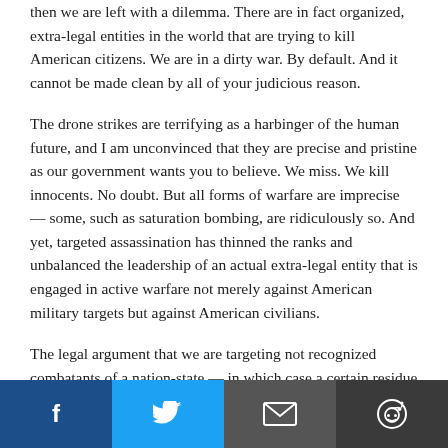then we are left with a dilemma. There are in fact organized, extra-legal entities in the world that are trying to kill American citizens. We are in a dirty war. By default. And it cannot be made clean by all of your judicious reason.
The drone strikes are terrifying as a harbinger of the human future, and I am unconvinced that they are precise and pristine as our government wants you to believe. We miss. We kill innocents. No doubt. But all forms of warfare are imprecise — some, such as saturation bombing, are ridiculously so. And yet, targeted assassination has thinned the ranks and unbalanced the leadership of an actual extra-legal entity that is engaged in active warfare not merely against American military targets but against American civilians.
The legal argument that we are targeting not recognized combatants of a nation-state — in which case a certain residue of due process under the rules of war would apply
[Figure (other): Social sharing bar with four buttons: Facebook (dark blue), Twitter (light blue), Email (dark gray), Reddit (dark gray)]